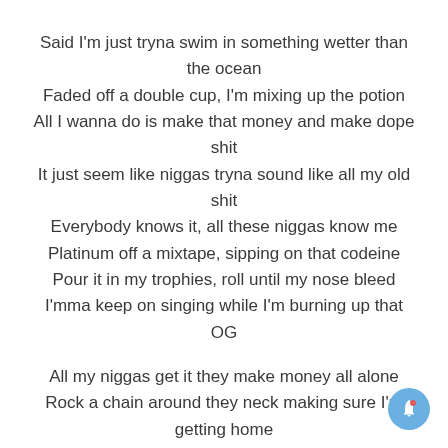Said I'm just tryna swim in something wetter than the ocean
Faded off a double cup, I'm mixing up the potion
All I wanna do is make that money and make dope shit
It just seem like niggas tryna sound like all my old shit
Everybody knows it, all these niggas know me
Platinum off a mixtape, sipping on that codeine
Pour it in my trophies, roll until my nose bleed
I'mma keep on singing while I'm burning up that OG

All my niggas get it they make money all alone
Rock a chain around they neck making sure I'm getting home
When I travel 'round the globe, make a couple mil a show
And I come back to my city, I fuck every girl I know
Used to walk around with a slouch, had a mattress on the floor
Now my shit straight eating all day, tryna lose weight
That...